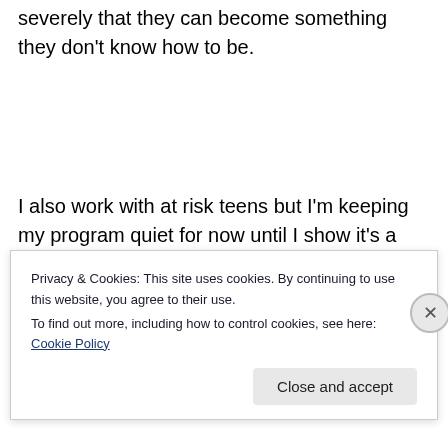severely that they can become something they don't know how to be.
I also work with at risk teens but I'm keeping my program quiet for now until I show it's a success because I'm so high profile that the politicians have already stopped me from helping the kids when I'm the one best suited for it. You'll be one of the first to know when I'm ready to go
Privacy & Cookies: This site uses cookies. By continuing to use this website, you agree to their use.
To find out more, including how to control cookies, see here: Cookie Policy
Close and accept